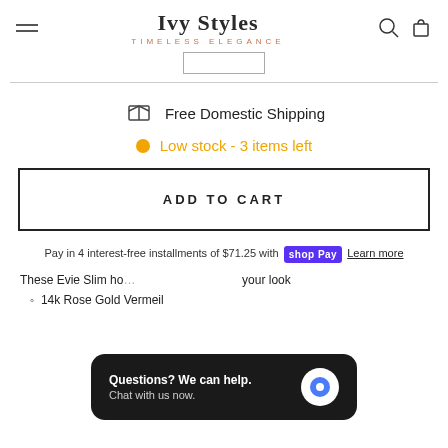Ivy Styles — TIMELESS ELEGANCE
Free Domestic Shipping
Low stock - 3 items left
ADD TO CART
Pay in 4 interest-free installments of $71.25 with Shop Pay  Learn more
These Evie Slim ho... your look
14k Rose Gold Vermeil
Questions? We can help. Chat with us now.